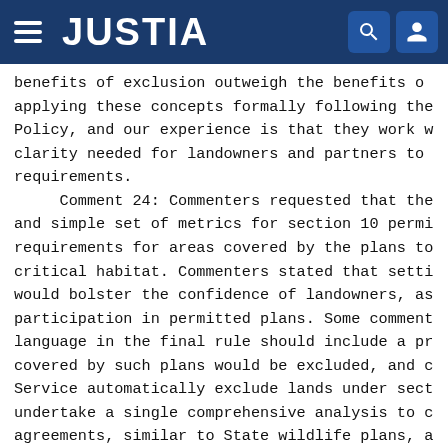JUSTIA
benefits of exclusion outweigh the benefits of applying these concepts formally following the Policy, and our experience is that they work w clarity needed for landowners and partners to requirements.
    Comment 24: Commenters requested that the and simple set of metrics for section 10 permi requirements for areas covered by the plans to critical habitat. Commenters stated that setti would bolster the confidence of landowners, as participation in permitted plans. Some comment language in the final rule should include a pr covered by such plans would be excluded, and c Service automatically exclude lands under sect undertake a single comprehensive analysis to c agreements, similar to State wildlife plans, a workload of private landowners and Service emp